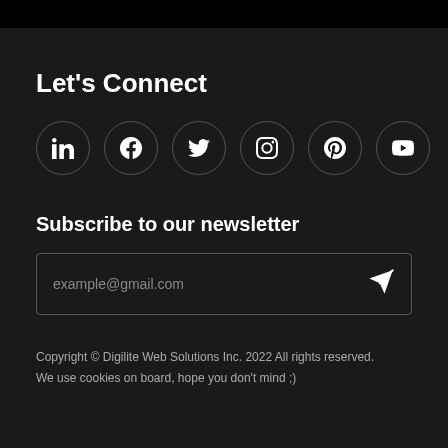Let's Connect
[Figure (infographic): Six circular social media icon buttons in a row: LinkedIn, Facebook, Twitter, Instagram, Pinterest, YouTube. Dark circular borders on dark background, white icons inside.]
Subscribe to our newsletter
[Figure (infographic): Email input box with placeholder text 'example@gmail.com' and a send/paper-plane icon on the right]
Copyright © Digilite Web Solutions Inc. 2022 All rights reserved.
We use cookies on board, hope you don't mind ;)